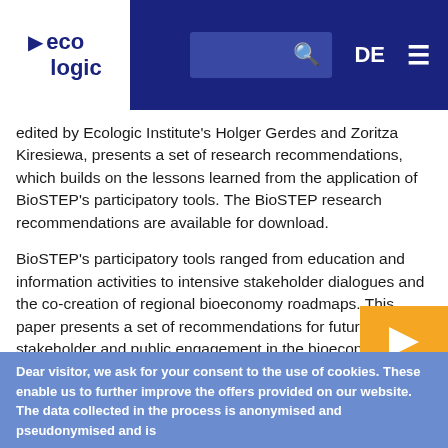eco logic | DE | search | menu
edited by Ecologic Institute's Holger Gerdes and Zoritza Kiresiewa, presents a set of research recommendations, which builds on the lessons learned from the application of BioSTEP's participatory tools. The BioSTEP research recommendations are available for download.
BioSTEP's participatory tools ranged from education and information activities to intensive stakeholder dialogues and the co-creation of regional bioeconomy roadmaps. This paper presents a set of recommendations for future effective stakeholder and public engagement in the bioeconomy, aiming to maximise the impact of EU Research & Innovation. BioSTEP's research recommendations focus on five distinct topics:
Dear visitor, we ask for your consent to the use of cookies. These enable us to further improve the offers provided on our website. The data collected in the process is anonymised and pseudonymised and is